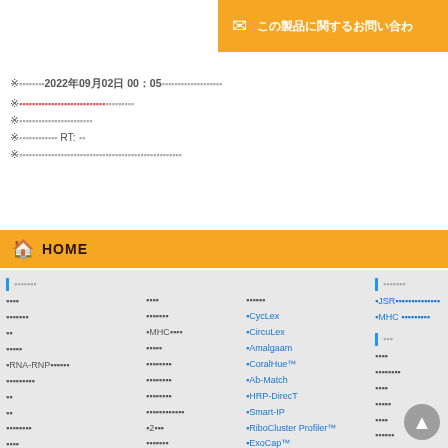[Figure (infographic): Orange contact button with envelope icon and Japanese text 'この製品に関するお問い合わ']
※ 2022年09月02日 00:05 更新
※ (red text - Japanese)
※ (Japanese text)
※ (Japanese text) RT: 版
※ (Japanese text long)
🏠 HOME
製品カテゴリ (nav section header)
抗体
タンパク質
核酸
蛍光
RNA-RNP解析
オートファジー
細胞
試薬
プロトコル
検出試薬
機器・装置
▶CycLex
▶CircuLex
▶Amalgaam
▶CoralHue™
▶Ab-Match
▶HRP-DirecT
▶Smart-IP
▶RiboCluster Profiler™
▶ExoCap™
▶My select sampler set
▶JSR (Japanese)
▶MHC (Japanese)
サポート (section header)
よくある
お問い合わせ
見積り
注文書
カタログ
技術情報